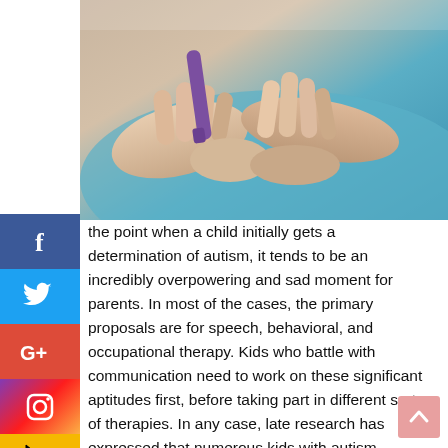[Figure (photo): Close-up photograph of hands, one hand holding the wrist of another person, with a purple object visible between the fingers. Background shows teal/blue clothing.]
the point when a child initially gets a determination of autism, it tends to be an incredibly overpowering and sad moment for parents. In most of the cases, the primary proposals are for speech, behavioral, and occupational therapy. Kids who battle with communication need to work on these significant aptitudes first, before taking part in different sorts of therapies. In any case, late research has expressed that numerous kids with autism additionally battle with gross motor skills, motor plannings, gait abnormalities, and low tone. These worries can fluctuate